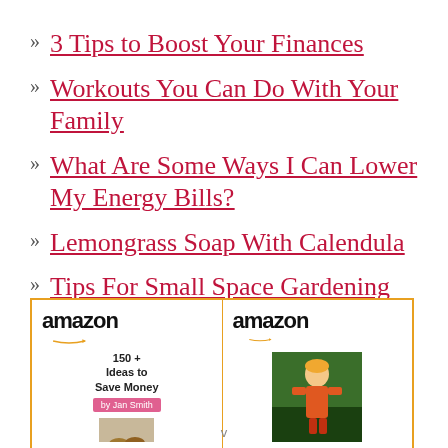3 Tips to Boost Your Finances
Workouts You Can Do With Your Family
What Are Some Ways I Can Lower My Energy Bills?
Lemongrass Soap With Calendula
Tips For Small Space Gardening
[Figure (other): Two Amazon product advertisement boxes side by side with orange border. Left box shows Amazon logo with arrow, text '150 + Ideas to Save Money' with pink bar, and partial book cover. Right box shows Amazon logo with arrow and a photo of a child.]